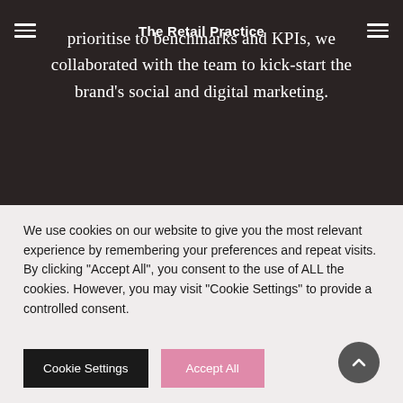The Retail Practice
prioritise to benchmarks and KPIs, we collaborated with the team to kick-start the brand's social and digital marketing.
We use cookies on our website to give you the most relevant experience by remembering your preferences and repeat visits. By clicking "Accept All", you consent to the use of ALL the cookies. However, you may visit "Cookie Settings" to provide a controlled consent.